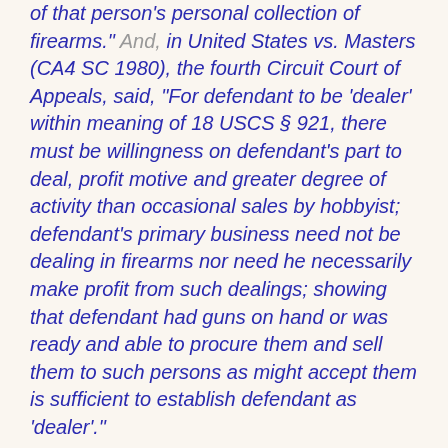of that person's personal collection of firearms." And, in United States vs. Masters (CA4 SC 1980), the fourth Circuit Court of Appeals, said, “For defendant to be ‘dealer’ within meaning of 18 USCS § 921, there must be willingness on defendant’s part to deal, profit motive and greater degree of activity than occasional sales by hobbyist; defendant’s primary business need not be dealing in firearms nor need he necessarily make profit from such dealings; showing that defendant had guns on hand or was ready and able to procure them and sell them to such persons as might accept them is sufficient to establish defendant as ‘dealer’."
Obama wishes to make anyone who sells a firearm into a “dealer of firearms.” In so doing, he would